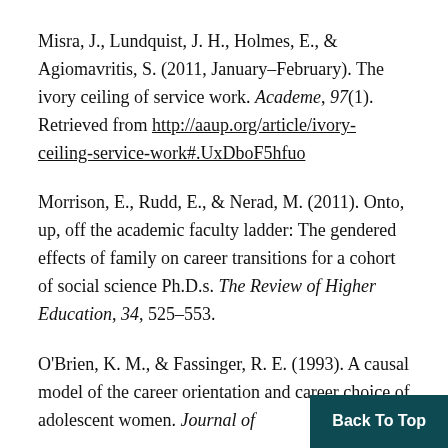Misra, J., Lundquist, J. H., Holmes, E., & Agiomavritis, S. (2011, January–February). The ivory ceiling of service work. Academe, 97(1). Retrieved from http://aaup.org/article/ivory-ceiling-service-work#.UxDboF5hfuo
Morrison, E., Rudd, E., & Nerad, M. (2011). Onto, up, off the academic faculty ladder: The gendered effects of family on career transitions for a cohort of social science Ph.D.s. The Review of Higher Education, 34, 525–553.
O'Brien, K. M., & Fassinger, R. E. (1993). A causal model of the career orientation and career choice of adolescent women. Journal of